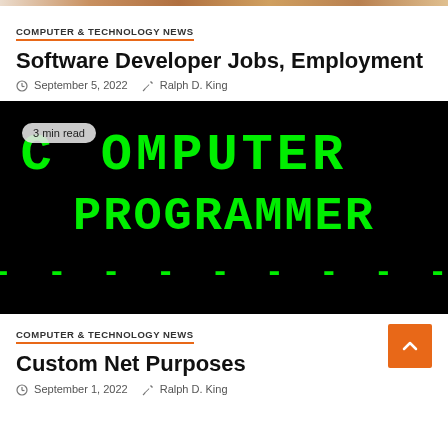[Figure (photo): Partial top strip of a photo, appears warm-toned]
COMPUTER & TECHNOLOGY NEWS
Software Developer Jobs, Employment
September 5, 2022  Ralph D. King
[Figure (photo): Dark background image showing green LED/pixel-style text reading 'COMPUTER PROGRAMMER' with dashes below, badge '3 min read']
COMPUTER & TECHNOLOGY NEWS
Custom Net Purposes
September 1, 2022  Ralph D. King